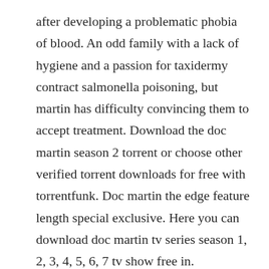after developing a problematic phobia of blood. An odd family with a lack of hygiene and a passion for taxidermy contract salmonella poisoning, but martin has difficulty convincing them to accept treatment. Download the doc martin season 2 torrent or choose other verified torrent downloads for free with torrentfunk. Doc martin the edge feature length special exclusive. Here you can download doc martin tv series season 1, 2, 3, 4, 5, 6, 7 tv show free in.